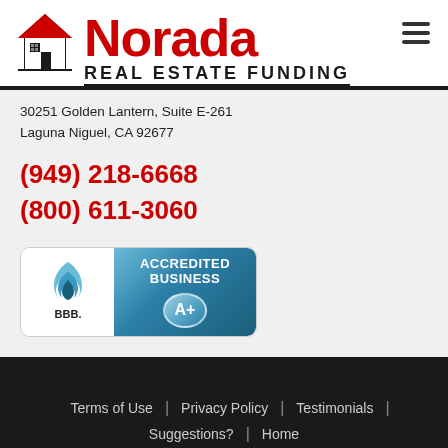[Figure (logo): Norada Real Estate Funding logo with house icon and red text]
30251 Golden Lantern, Suite E-261
Laguna Niguel, CA 92677
(949) 218-6668
(800) 611-3060
[Figure (logo): BBB Accredited Business A+ badge]
Terms of Use | Privacy Policy | Testimonials | Suggestions? | Home